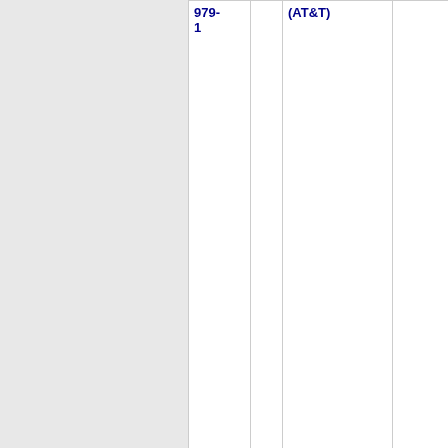| Number | State | Carrier | Code |
| --- | --- | --- | --- |
| 626-979-1 |  | (AT&T) |  |
| 626-979-2 | CA | PACIFIC BELL (AT&T) | 9740 |